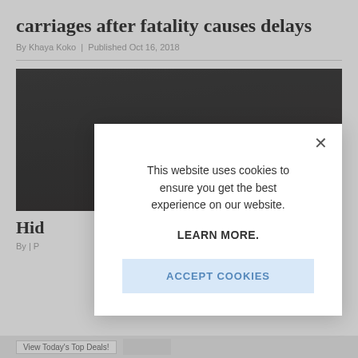carriages after fatality causes delays
By Khaya Koko | Published Oct 16, 2018
[Figure (photo): Dark photograph of train carriages or subway interior]
Hid
By | P
[Figure (screenshot): Cookie consent modal overlay: 'This website uses cookies to ensure you get the best experience on our website. LEARN MORE. ACCEPT COOKIES']